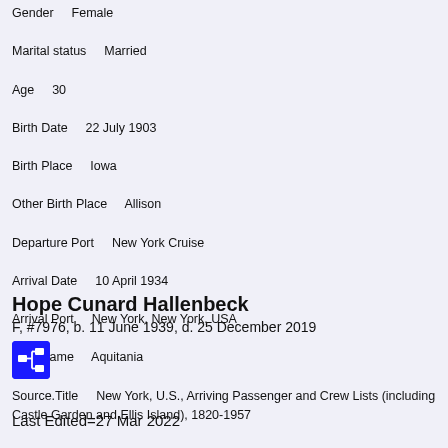Gender    Female
Marital status    Married
Age    30
Birth Date    22 July 1903
Birth Place    Iowa
Other Birth Place    Allison
Departure Port    New York Cruise
Arrival Date    10 April 1934
Arrival Port    New York, New York, USA
Ship Name    Aquitania
Source.Title    New York, U.S., Arriving Passenger and Crew Lists (including Castle Garden and Ellis Island), 1820-1957
Source.Citation    Year: 1934; Arrival: New York, New York, USA; Microfilm Serial: T715, 1897-1957; Line: 23; Page Number: 42
Source.Year    1934
Source.Arrival    New York, New York, USA
Source.Microfilm Serial    T715, 1897-1957
Source.Line    23
Source.Page Number    42; in n/a; T715, 1897-1957 (n/a: Ancestrey.com).
Hope Cunard Hallenbeck
F, #7976, b. 11 June 1939, d. 25 December 2019
Last Edited=27 Mar 2022